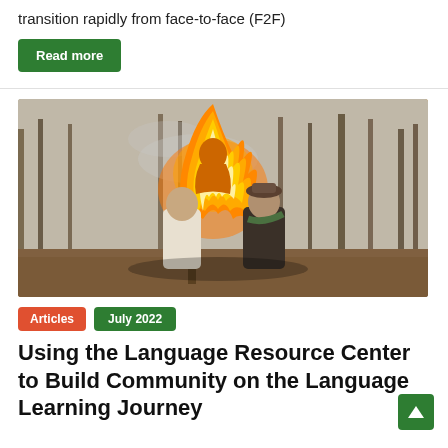transition rapidly from face-to-face (F2F)
Read more
[Figure (photo): Two men standing outdoors in a forest, posing next to a large burning effigy on a pole. The fire is bright orange and yellow. The men are smiling. Trees without leaves are visible in the background.]
Articles   July 2022
Using the Language Resource Center to Build Community on the Language Learning Journey